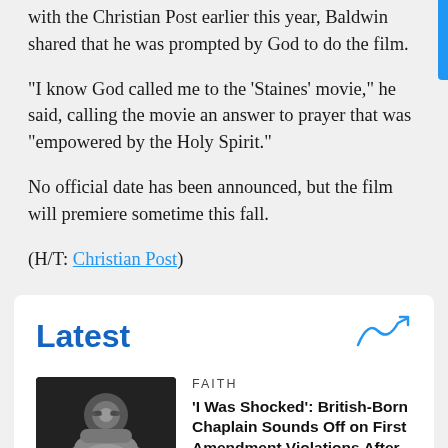with the Christian Post earlier this year, Baldwin shared that he was prompted by God to do the film.
“I know God called me to the ‘Staines’ movie,” he said, calling the movie an answer to prayer that was “empowered by the Holy Spirit.”
No official date has been announced, but the film will premiere sometime this fall.
(H/T: Christian Post)
Latest
FAITH
‘I Was Shocked’: British-Born Chaplain Sounds Off on First Amendment Violations After Being Axed for Transgender Views
[Figure (photo): Headshot of a man with glasses and a beard wearing a suit jacket]